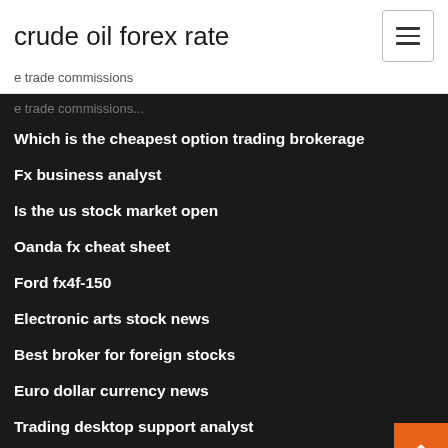crude oil forex rate
e trade commissions
e trade commissions
Which is the cheapest option trading brokerage
Fx business analyst
Is the us stock market open
Oanda fx cheat sheet
Ford fx4f-150
Electronic arts stock news
Best broker for foreign stocks
Euro dollar currency news
Trading desktop support analyst
Rb energy stock price